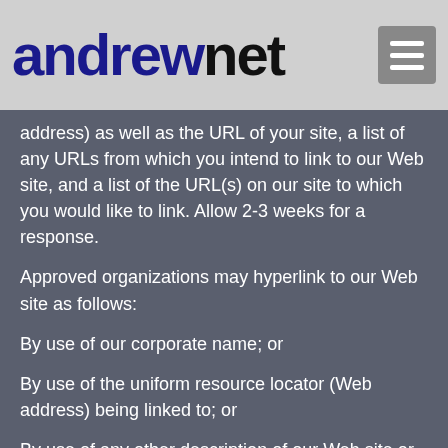andrewnet
address) as well as the URL of your site, a list of any URLs from which you intend to link to our Web site, and a list of the URL(s) on our site to which you would like to link. Allow 2-3 weeks for a response.
Approved organizations may hyperlink to our Web site as follows:
By use of our corporate name; or
By use of the uniform resource locator (Web address) being linked to; or
By use of any other description of our Web site or material being linked to that makes sense within the context and format of content on the linking party's site.
No use of andrewnet's logo or other artwork will be